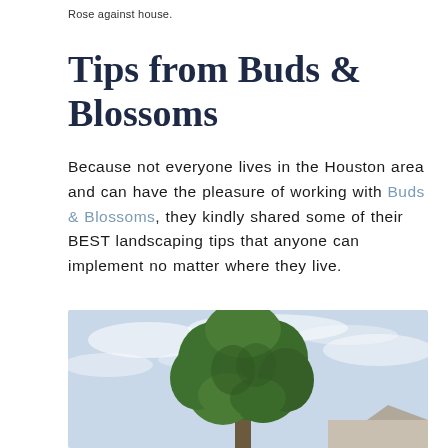Rose against house.
Tips from Buds & Blossoms
Because not everyone lives in the Houston area and can have the pleasure of working with Buds & Blossoms, they kindly shared some of their BEST landscaping tips that anyone can implement no matter where they live.
[Figure (photo): A large green tree photographed from below against a light blue cloudy sky, with a hint of a building rooftop visible at the lower right.]